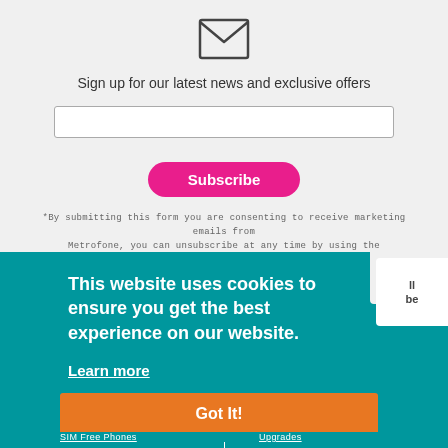[Figure (other): Envelope/mail icon (outline style)]
Sign up for our latest news and exclusive offers
[Figure (other): Email input text field (empty)]
Subscribe
*By submitting this form you are consenting to receive marketing emails from Metrofone, you can unsubscribe at any time by using the unsubscribe link at the footer of every email.
This website uses cookies to ensure you get the best experience on our website.
Learn more
Got It!
SIM Free Phones
Upgrades